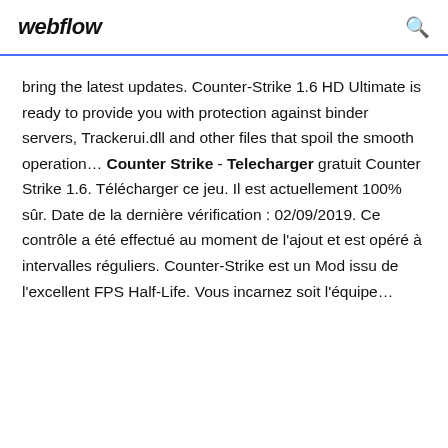webflow
bring the latest updates. Counter-Strike 1.6 HD Ultimate is ready to provide you with protection against binder servers, Trackerui.dll and other files that spoil the smooth operation… Counter Strike - Telecharger gratuit Counter Strike 1.6. Télécharger ce jeu. Il est actuellement 100% sûr. Date de la dernière vérification : 02/09/2019. Ce contrôle a été effectué au moment de l'ajout et est opéré à intervalles réguliers. Counter-Strike est un Mod issu de l'excellent FPS Half-Life. Vous incarnez soit l'équipe…